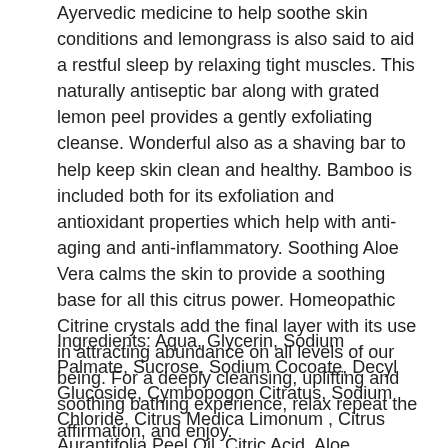Ayervedic medicine to help soothe skin conditions and lemongrass is also said to aid a restful sleep by relaxing tight muscles. This naturally antiseptic bar along with grated lemon peel provides a gently exfoliating cleanse. Wonderful also as a shaving bar to help keep skin clean and healthy. Bamboo is included both for its exfoliation and antioxidant properties which help with anti-aging and anti-inflammatory. Soothing Aloe Vera calms the skin to provide a soothing base for all this citrus power. Homeopathic Citrine crystals add the final layer with its use in attracting abundance on all levels of our being. For a deeply cleansing, uplifting and soothing bathing experience, relax repeat the affirmation, and enjoy.
Ingredients: Aqua, Glycerin, Sodium Palmate, Sucrose, Sodium Cocoate, Decyl Glucoside, Cymbopogon Citratus, Sodium Chloride, Citrus Medica Limonum , Citrus Aurantifolia Peel Oil, Citric Acid, Aloe Barbadensis Leaf Juice Powder, Bambusa Arundinacea Stem Extract, Sodium Citrate, Sodium Palm Kernelate, Yellow Iron Oxide, Homeopathic Citrine Crystal Allergens: linalool, Geraniol, Limonene, 70% organic. PH 8-9